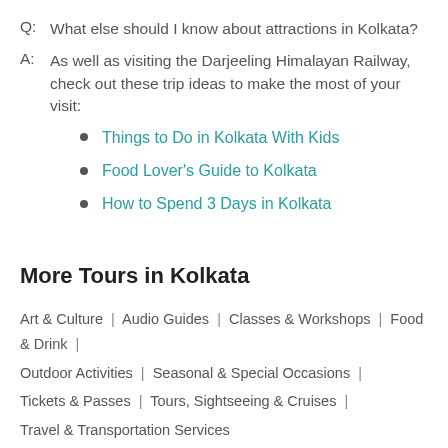Q:  What else should I know about attractions in Kolkata?
A:  As well as visiting the Darjeeling Himalayan Railway, check out these trip ideas to make the most of your visit:
Things to Do in Kolkata With Kids
Food Lover's Guide to Kolkata
How to Spend 3 Days in Kolkata
More Tours in Kolkata
Art & Culture | Audio Guides | Classes & Workshops | Food & Drink | Outdoor Activities | Seasonal & Special Occasions | Tickets & Passes | Tours, Sightseeing & Cruises | Travel & Transportation Services